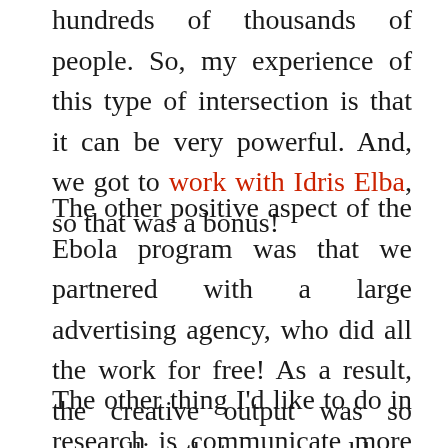hundreds of thousands of people. So, my experience of this type of intersection is that it can be very powerful. And, we got to work with Idris Elba, so that was a bonus!
The other positive aspect of the Ebola program was that we partnered with a large advertising agency, who did all the work for free! As a result, the creative output was so compelling that we were able to attract a lot of earned media. I would love to explore whether we can adopt this model for ME/CFS.
The other thing I'd like to do in research is communicate more about the work we're doing and what that means to most of the